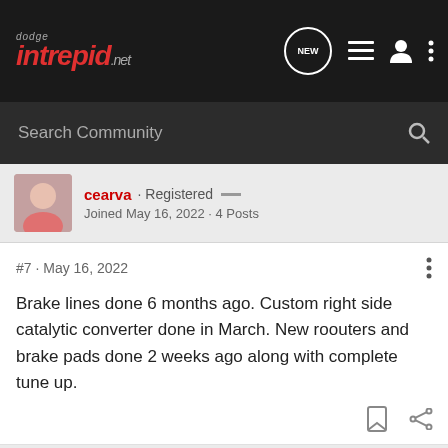dodge intrepid .net — NEW
Search Community
cearva · Registered — Joined May 16, 2022 · 4 Posts
#7 · May 16, 2022
Brake lines done 6 months ago. Custom right side catalytic converter done in March. New roouters and brake pads done 2 weeks ago along with complete tune up.
peva · Premium Member 🇺🇸 Joined Feb 5, 2002 · 18,390 Posts